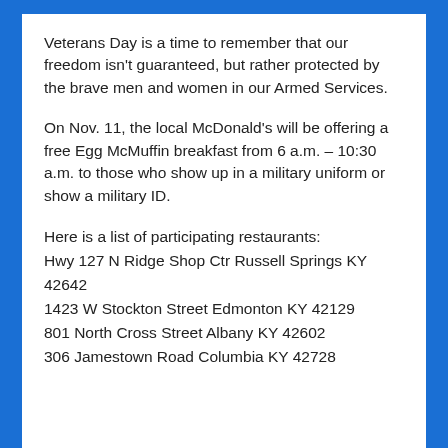Veterans Day is a time to remember that our freedom isn't guaranteed, but rather protected by the brave men and women in our Armed Services.
On Nov. 11, the local McDonald's will be offering a free Egg McMuffin breakfast from 6 a.m. – 10:30 a.m. to those who show up in a military uniform or show a military ID.
Here is a list of participating restaurants:
Hwy 127 N Ridge Shop Ctr Russell Springs KY 42642
1423 W Stockton Street Edmonton KY 42129
801 North Cross Street Albany KY 42602
306 Jamestown Road Columbia KY 42728